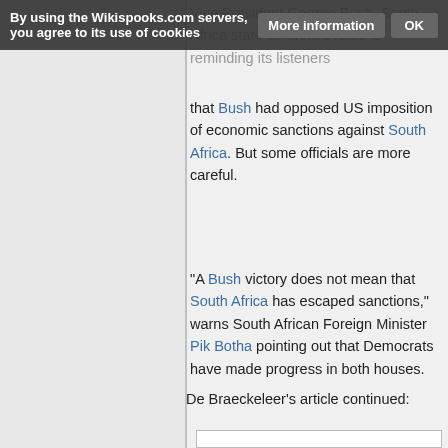By using the Wikispooks.com servers, you agree to its use of cookies   More information   OK
Vice President George Bush, South Africa state-controlled radio is reminding its listeners that Bush had opposed US imposition of economic sanctions against South Africa. But some officials are more careful.
"A Bush victory does not mean that South Africa has escaped sanctions," warns South African Foreign Minister Pik Botha pointing out that Democrats have made progress in both houses.
De Braeckeleer's article continued: